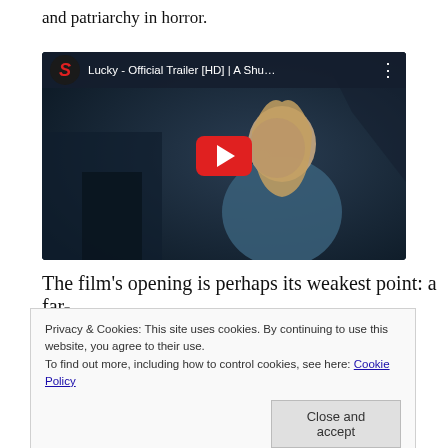and patriarchy in horror.
[Figure (screenshot): YouTube video embed showing 'Lucky - Official Trailer [HD] | A Shu...' with a woman in a dark room and a red play button overlay]
The film's opening is perhaps its weakest point: a far-
Privacy & Cookies: This site uses cookies. By continuing to use this website, you agree to their use.
To find out more, including how to control cookies, see here: Cookie Policy
Close and accept
her as a character we should care about, but director